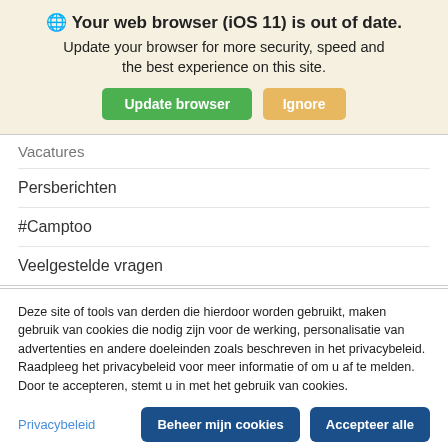🌐 Your web browser (iOS 11) is out of date. Update your browser for more security, speed and the best experience on this site.
Vacatures
Persberichten
#Camptoo
Veelgestelde vragen
Deze site of tools van derden die hierdoor worden gebruikt, maken gebruik van cookies die nodig zijn voor de werking, personalisatie van advertenties en andere doeleinden zoals beschreven in het privacybeleid. Raadpleeg het privacybeleid voor meer informatie of om u af te melden. Door te accepteren, stemt u in met het gebruik van cookies.
Privacybeleid
Beheer mijn cookies
Accepteer alle